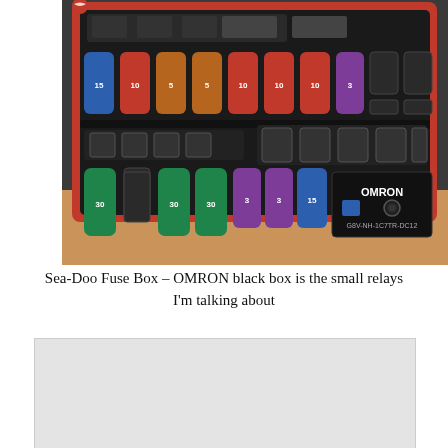[Figure (photo): Sea-Doo fuse box with colorful fuses (blue, red, tan, purple, green) and an OMRON black relay box labeled G8V-NH-1C7TR-DC12 visible in the bottom right of the fuse box.]
Sea-Doo Fuse Box – OMRON black box is the small relays I'm talking about
[Figure (photo): Partially visible second image, mostly gray/light background, content cut off.]